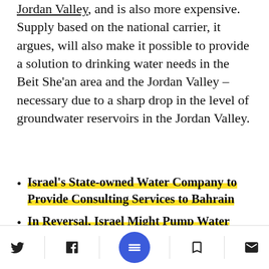Jordan Valley, and is also more expensive. Supply based on the national carrier, it argues, will also make it possible to provide a solution to drinking water needs in the Beit She'an area and the Jordan Valley – necessary due to a sharp drop in the level of groundwater reservoirs in the Jordan Valley.
Israel's State-owned Water Company to Provide Consulting Services to Bahrain
In Reversal, Israel Might Pump Water North From Sea of Galilee
The Plan That Could Save the Sea of Galilee
Twitter, Facebook, Menu, Bookmark, Mail